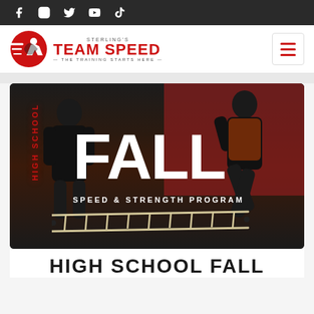Social media icons: Facebook, Instagram, Twitter, YouTube, TikTok
[Figure (logo): Sterling's Team Speed logo with red running figure icon and text 'STERLING'S TEAM SPEED - THE TRAINING STARTS HERE']
[Figure (photo): High School Fall Speed & Strength Program promotional image showing two athletes training in a gym with agility ladders. Large text reads 'FALL' with 'SPEED & STRENGTH PROGRAM' below, and 'HIGH SCHOOL' in vertical red text on the left.]
HIGH SCHOOL FALL